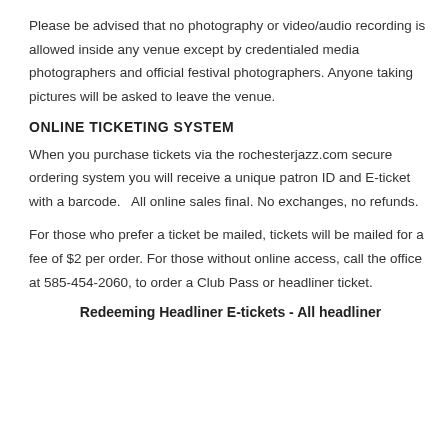Please be advised that no photography or video/audio recording is allowed inside any venue except by credentialed media photographers and official festival photographers. Anyone taking pictures will be asked to leave the venue.
ONLINE TICKETING SYSTEM
When you purchase tickets via the rochesterjazz.com secure ordering system you will receive a unique patron ID and E-ticket with a barcode.   All online sales final. No exchanges, no refunds.
For those who prefer a ticket be mailed, tickets will be mailed for a fee of $2 per order. For those without online access, call the office at 585-454-2060, to order a Club Pass or headliner ticket.
Redeeming Headliner E-tickets - All headliner